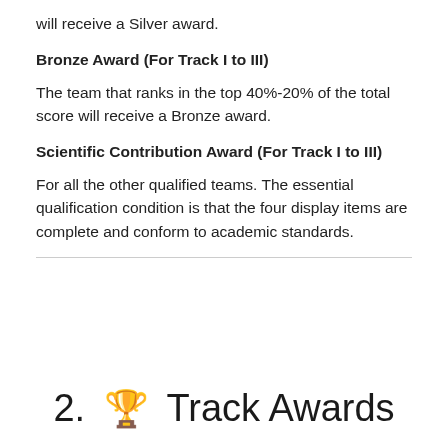will receive a Silver award.
Bronze Award (For Track I to III)
The team that ranks in the top 40%-20% of the total score will receive a Bronze award.
Scientific Contribution Award (For Track I to III)
For all the other qualified teams. The essential qualification condition is that the four display items are complete and conform to academic standards.
2. 🏆 Track Awards